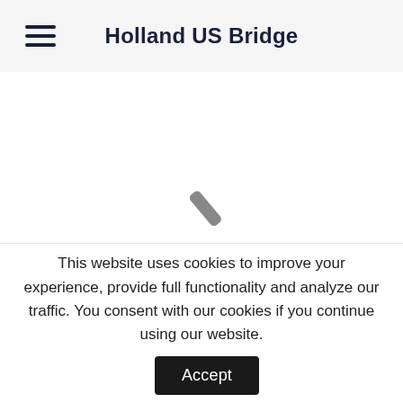Holland US Bridge
[Figure (other): Loading spinner indicator — a single diagonal grey stroke, part of a spinning loader animation]
This website uses cookies to improve your experience, provide full functionality and analyze our traffic. You consent with our cookies if you continue using our website.
Accept